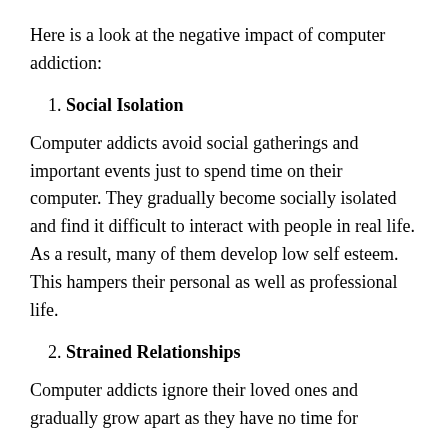Here is a look at the negative impact of computer addiction:
1. Social Isolation
Computer addicts avoid social gatherings and important events just to spend time on their computer. They gradually become socially isolated and find it difficult to interact with people in real life. As a result, many of them develop low self esteem. This hampers their personal as well as professional life.
2. Strained Relationships
Computer addicts ignore their loved ones and gradually grow apart as they have no time for them all from computer games and the internet.